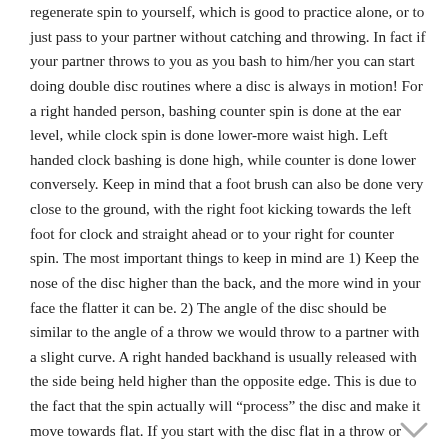regenerate spin to yourself, which is good to practice alone, or to just pass to your partner without catching and throwing. In fact if your partner throws to you as you bash to him/her you can start doing double disc routines where a disc is always in motion! For a right handed person, bashing counter spin is done at the ear level, while clock spin is done lower-more waist high. Left handed clock bashing is done high, while counter is done lower conversely. Keep in mind that a foot brush can also be done very close to the ground, with the right foot kicking towards the left foot for clock and straight ahead or to your right for counter spin. The most important things to keep in mind are 1) Keep the nose of the disc higher than the back, and the more wind in your face the flatter it can be. 2) The angle of the disc should be similar to the angle of a throw we would throw to a partner with a slight curve. A right handed backhand is usually released with the side being held higher than the opposite edge. This is due to the fact that the spin actually will “process” the disc and make it move towards flat. If you start with the disc flat in a throw or airbrush scenario, the increase in spin usually make it “turn over” and roll. That is why we keep the bashing angle in what can be